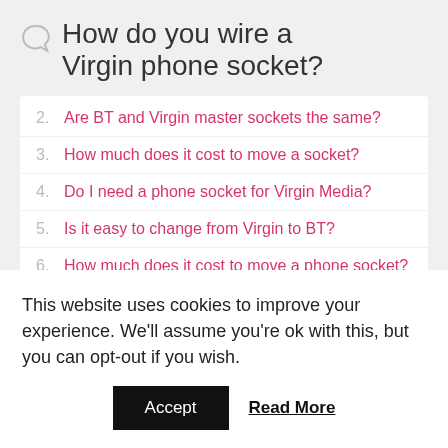How do you wire a Virgin phone socket?
2. Are BT and Virgin master sockets the same?
3. How much does it cost to move a socket?
4. Do I need a phone socket for Virgin Media?
5. Is it easy to change from Virgin to BT?
6. How much does it cost to move a phone socket?
7. Do I need an electrician to move a socket?
This website uses cookies to improve your experience. We'll assume you're ok with this, but you can opt-out if you wish.
Accept   Read More